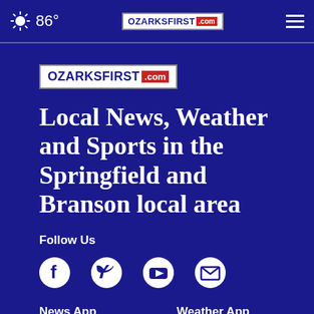86° OzarksFirst.com
[Figure (logo): OzarksFirst.com logo - large version on dark blue background]
Local News, Weather and Sports in the Springfield and Branson local area
Follow Us
[Figure (infographic): Social media icons: Facebook, Twitter, YouTube, Email]
News App
Weather App
[Figure (infographic): Download on the App Store buttons for News App and Weather App]